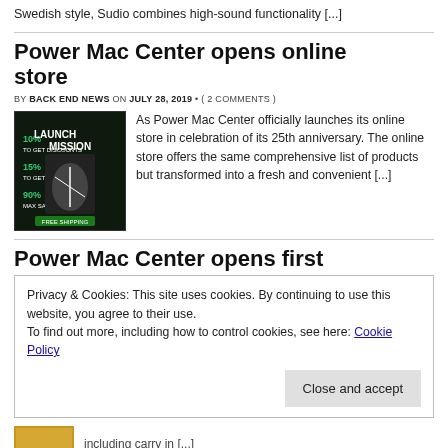Swedish style, Sudio combines high-sound functionality [...]
Power Mac Center opens online store
BY BACK END NEWS ON JULY 28, 2019 • ( 2 COMMENTS )
[Figure (photo): Dark promotional image for Power Mac Center launch mission with percentage text overlays: 10%, 15%, 90%]
As Power Mac Center officially launches its online store in celebration of its 25th anniversary. The online store offers the same comprehensive list of products but transformed into a fresh and convenient [...]
Power Mac Center opens first
Privacy & Cookies: This site uses cookies. By continuing to use this website, you agree to their use.
To find out more, including how to control cookies, see here: Cookie Policy
Close and accept
including carry in [...]